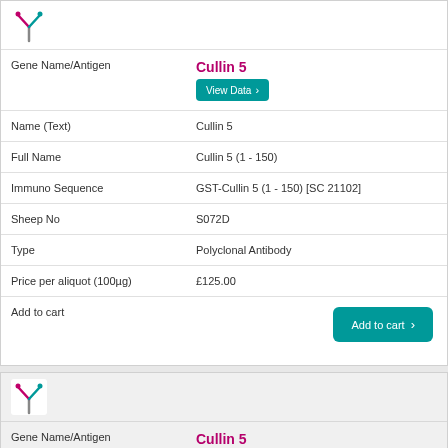[Figure (illustration): Antibody Y-shaped icon in pink/teal colors]
| Field | Value |
| --- | --- |
| Gene Name/Antigen | Cullin 5 |
| Name (Text) | Cullin 5 |
| Full Name | Cullin 5 (1 - 150) |
| Immuno Sequence | GST-Cullin 5 (1 - 150) [SC 21102] |
| Sheep No | S072D |
| Type | Polyclonal Antibody |
| Price per aliquot (100µg) | £125.00 |
| Add to cart | Add to cart |
[Figure (illustration): Antibody Y-shaped icon in pink/teal colors]
| Field | Value |
| --- | --- |
| Gene Name/Antigen | Cullin 5 |
| Name (Text) | Cullin 5 |
| Full Name | Cullin 5 (577 - 689) |